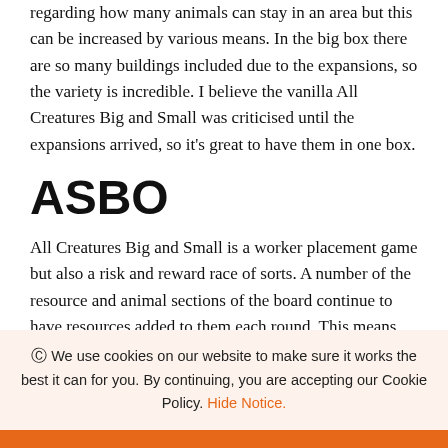regarding how many animals can stay in an area but this can be increased by various means. In the big box there are so many buildings included due to the expansions, so the variety is incredible. I believe the vanilla All Creatures Big and Small was criticised until the expansions arrived, so it's great to have them in one box.
ASBO
All Creatures Big and Small is a worker placement game but also a risk and reward race of sorts. A number of the resource and animal sections of the board continue to have resources added to them each round. This means that if no one visits a space with three wood in the first round, another three will be added on the next round and so on. So, how tempting does the pile have to get before one of you takes it? Or should you take it early to be safe? I
We use cookies on our website to make sure it works the best it can for you. By continuing, you are accepting our Cookie Policy. Hide Notice.